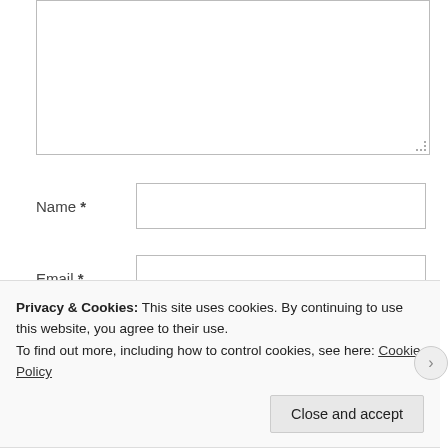[Figure (screenshot): A web comment form with a textarea (partially visible at top), followed by Name, Email, and Website text input fields. A cookie consent banner overlays the bottom portion, with text about cookies and a 'Close and accept' button.]
Name *
Email *
Website
Privacy & Cookies: This site uses cookies. By continuing to use this website, you agree to their use.
To find out more, including how to control cookies, see here: Cookie Policy
Close and accept